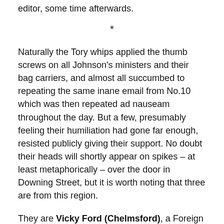only person to see the young mans bare bum was the film editor, some time afterwards.
*
Naturally the Tory whips applied the thumb screws on all Johnson's ministers and their bag carriers, and almost all succumbed to repeating the same inane email from No.10 which was then repeated ad nauseam throughout the day. But a few, presumably feeling their humiliation had gone far enough, resisted publicly giving their support. No doubt their heads will shortly appear on spikes – at least metaphorically – over the door in Downing Street, but it is worth noting that three are from this region.
They are Vicky Ford (Chelmsford), a Foreign Office minister, Duncan Baker (North Norfolk), a recently appointed parliamentary private secretary at the absurdly titled Department for Levelling Up, and Jo Churchill (Bury